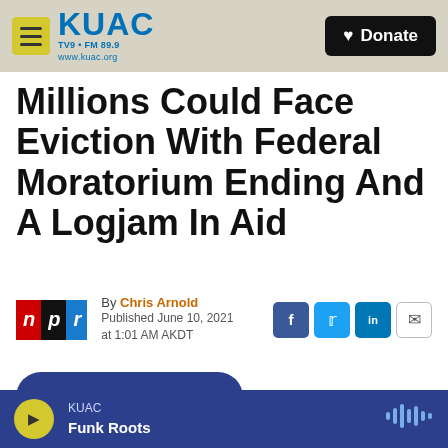KUAC TV9 · FM 89.9 www.kuac.org | Donate
Millions Could Face Eviction With Federal Moratorium Ending And A Logjam In Aid
By Chris Arnold
Published June 10, 2021 at 1:01 AM AKDT
LISTEN • 4:14
KUAC Funk Roots